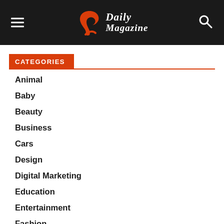R Daily Magazine
CATEGORIES
Animal
Baby
Beauty
Business
Cars
Design
Digital Marketing
Education
Entertainment
Fashion